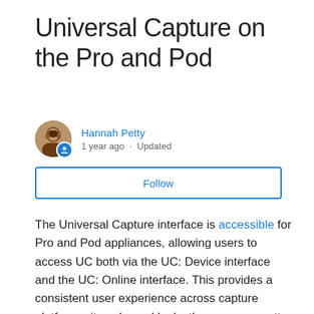Universal Capture on the Pro and Pod
Hannah Petty
1 year ago · Updated
Follow
The Universal Capture interface is accessible for Pro and Pod appliances, allowing users to access UC both via the UC: Device interface and the UC: Online interface. This provides a consistent user experience across capture platforms; it works and looks the same no matter where or how users are creating content.